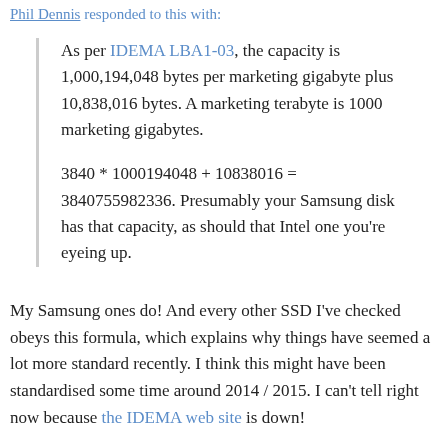Phil Dennis responded to this with:
As per IDEMA LBA1-03, the capacity is 1,000,194,048 bytes per marketing gigabyte plus 10,838,016 bytes. A marketing terabyte is 1000 marketing gigabytes.

3840 * 1000194048 + 10838016 = 3840755982336. Presumably your Samsung disk has that capacity, as should that Intel one you're eyeing up.
My Samsung ones do! And every other SSD I've checked obeys this formula, which explains why things have seemed a lot more standard recently. I think this might have been standardised some time around 2014 / 2015. I can't tell right now because the IDEMA web site is down!